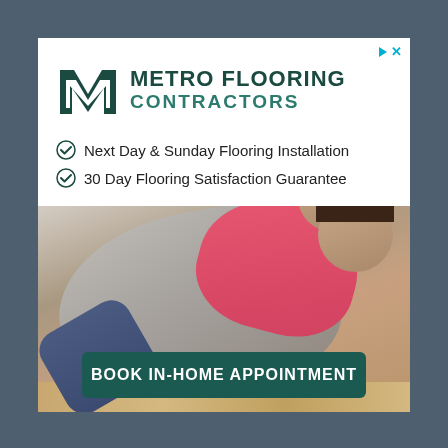[Figure (logo): Metro Flooring Contractors logo with stylized M mark in dark teal and brand name text]
✓ Next Day & Sunday Flooring Installation
✓ 30 Day Flooring Satisfaction Guarantee
[Figure (photo): Mother and young child laughing and playing together on a hardwood floor]
BOOK IN-HOME APPOINTMENT